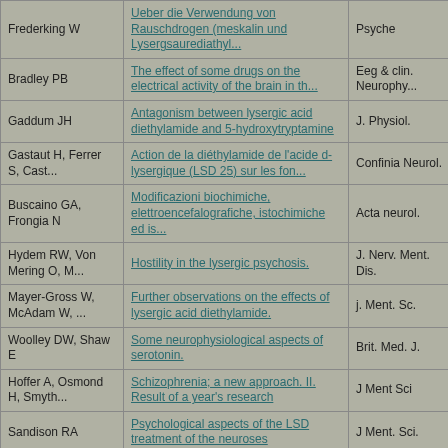| Author | Title | Journal | Year |
| --- | --- | --- | --- |
| Frederking W | Ueber die Verwendung von Rauschdrogen (meskalin und Lysergsaurediathyl... | Psyche | 1953 |
| Bradley PB | The effect of some drugs on the electrical activity of the brain in th... | Eeg & clin. Neurophy... | 1953 |
| Gaddum JH | Antagonism between lysergic acid diethylamide and 5-hydroxytryptamine | J. Physiol. | 1953 |
| Gastaut H, Ferrer S, Cast... | Action de la diéthylamide de l'acide d-lysergique (LSD 25) sur les fon... | Confinia Neurol. | 1953 |
| Buscaino GA, Frongia N | Modificazioni biochimiche, elettroencefalografiche, istochimiche ed is... | Acta neurol. | 1953 |
| Hydem RW, Von Mering O, M... | Hostility in the lysergic psychosis. | J. Nerv. Ment. Dis. | 1953 |
| Mayer-Gross W, McAdam W, ... | Further observations on the effects of lysergic acid diethylamide. | j. Ment. Sc. | 1953 |
| Woolley DW, Shaw E | Some neurophysiological aspects of serotonin. | Brit. Med. J. | 1954 |
| Hoffer A, Osmond H, Smyth... | Schizophrenia; a new approach. II. Result of a year's research | J Ment Sci | 1954 |
| Sandison RA | Psychological aspects of the LSD treatment of the neuroses | J Ment. Sci. | 1954 |
| Welsh JH | Marine invertebrate preparations useful in the bioassay of | Nature | 1954 |